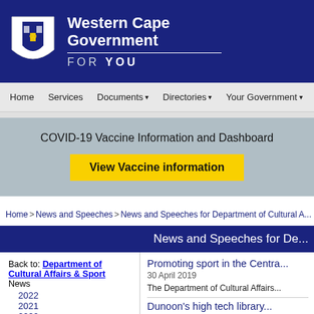[Figure (logo): Western Cape Government logo with shield and text 'Western Cape Government FOR YOU']
Home | Services | Documents | Directories | Your Government
COVID-19 Vaccine Information and Dashboard
View Vaccine information
Home > News and Speeches > News and Speeches for Department of Cultural A...
News and Speeches for De...
Back to: Department of Cultural Affairs & Sport
News
2022
2021
2020
Promoting sport in the Centra...
30 April 2019
The Department of Cultural Affairs...
Dunoon's high tech library...